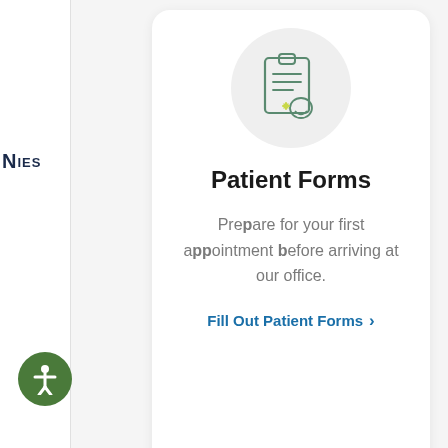NIGS
[Figure (illustration): Clipboard with document lines and a tooth with sparkle icon, inside a light gray circle]
Patient Forms
Prepare for your first appointment before arriving at our office.
Fill Out Patient Forms >
[Figure (illustration): Hospital building with medical cross and equipment icon, partially visible inside a light gray circle]
[Figure (illustration): Accessibility person icon inside a dark green circle button]